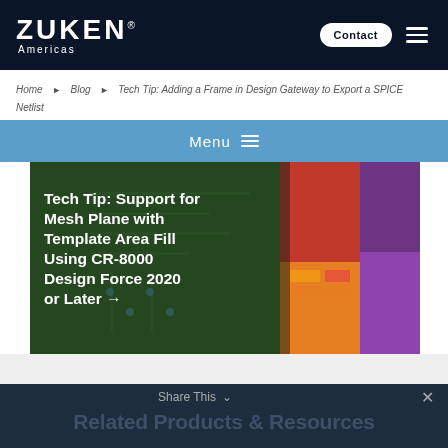ZUKEN® Americas | Contact | Menu
Home › Blog › Tech Tip: Adding a Frame in Design Gateway to Export a SPICE Netlist
Menu ≡
[Figure (screenshot): Featured article image with PCB design layout in background. Title text overlay reads: Tech Tip: Support for Mesh Plane with Template Area Fill Using CR-8000 Design Force 2020 or Later →]
Share This ∨
Related Products & Resources